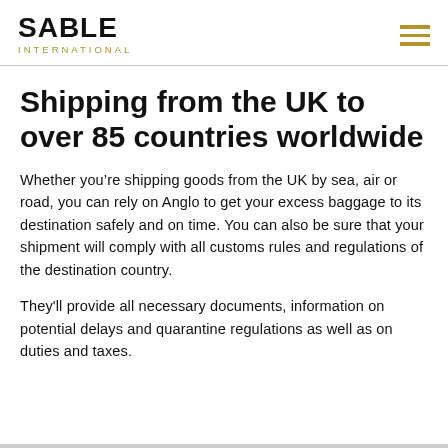SABLE INTERNATIONAL
Shipping from the UK to over 85 countries worldwide
Whether you’re shipping goods from the UK by sea, air or road, you can rely on Anglo to get your excess baggage to its destination safely and on time. You can also be sure that your shipment will comply with all customs rules and regulations of the destination country.
They'll provide all necessary documents, information on potential delays and quarantine regulations as well as on duties and taxes.